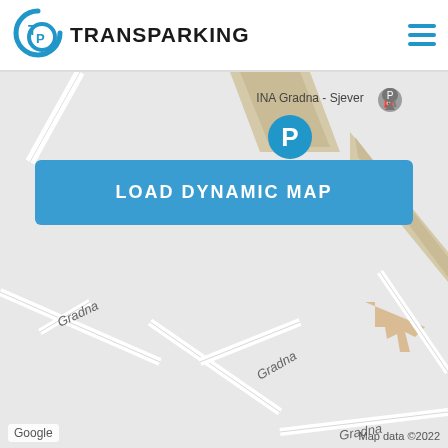[Figure (logo): TransParking logo with T and P letters in circular design, blue color]
TRANSPARKING
[Figure (screenshot): Google Maps screenshot showing Gradna area near INA Gradna - Sjever with roads labeled Gradna, parking marker (P icon), and a blue button overlay saying LOAD DYNAMIC MAP]
LOAD DYNAMIC MAP
Google    Map data ©2022